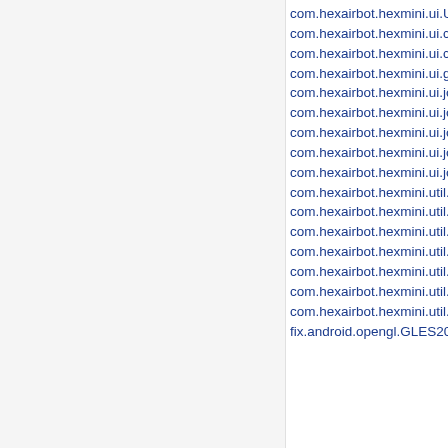com.hexairbot.hexmini.ui.UIR
com.hexairbot.hexmini.ui.con
com.hexairbot.hexmini.ui.con
com.hexairbot.hexmini.ui.gl.G
com.hexairbot.hexmini.ui.joy
com.hexairbot.hexmini.ui.joy
com.hexairbot.hexmini.ui.joy
com.hexairbot.hexmini.ui.joy
com.hexairbot.hexmini.ui.joy
com.hexairbot.hexmini.util.De
com.hexairbot.hexmini.util.Fo
com.hexairbot.hexmini.util.Sy
com.hexairbot.hexmini.util.Sy
com.hexairbot.hexmini.util.Sy
com.hexairbot.hexmini.util.Sy
com.hexairbot.hexmini.util.Te
fix.android.opengl.GLES20.ja